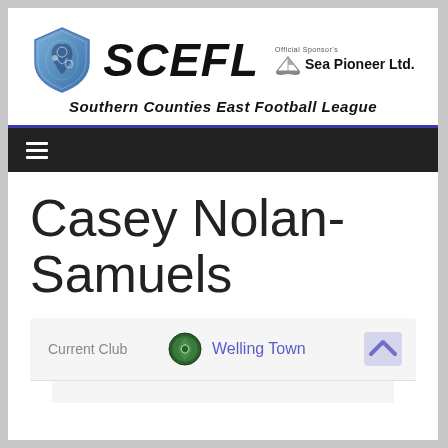[Figure (logo): SCEFL Southern Counties East Football League logo with shield emblem and Sea Pioneer Ltd. sponsor]
SCEFL Southern Counties East Football League — Official Sponsor: Sea Pioneer Ltd.
Casey Nolan-Samuels
| Current Club |  |
| --- | --- |
| Current Club | Welling Town |